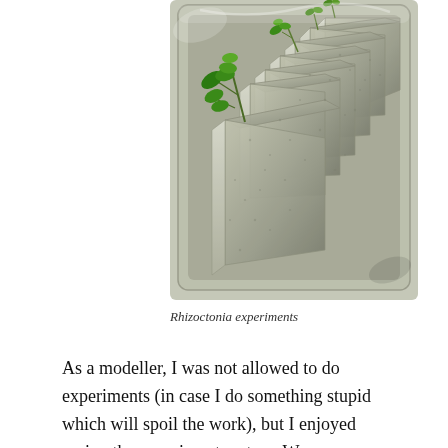[Figure (photo): A rectangular plastic tray containing multiple folded paper/foam wedge-shaped inserts arranged in a row, with small green seedlings (plants) growing from the top edges of the wedges. The tray appears to be part of a Rhizoctonia fungal experiment setup.]
Rhizoctonia experiments
As a modeller, I was not allowed to do experiments (in case I do something stupid which will spoil the work), but I enjoyed seeing the experiments set up. We grew Rhizoctonia